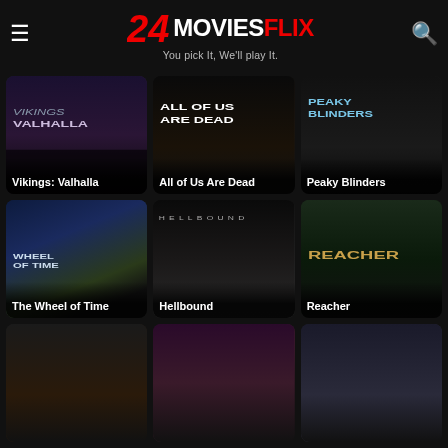24r MOVIESFLIX — You pick It, We'll play It.
[Figure (screenshot): Movie poster card: Vikings: Valhalla]
[Figure (screenshot): Movie poster card: All of Us Are Dead]
[Figure (screenshot): Movie poster card: Peaky Blinders]
[Figure (screenshot): Movie poster card: The Wheel of Time (2021)]
[Figure (screenshot): Movie poster card: Hellbound (2021)]
[Figure (screenshot): Movie poster card: Reacher (2022)]
[Figure (screenshot): Movie poster card (2022) - partial]
[Figure (screenshot): Movie poster card (2022) - partial]
[Figure (screenshot): Movie poster card (2022) - partial]